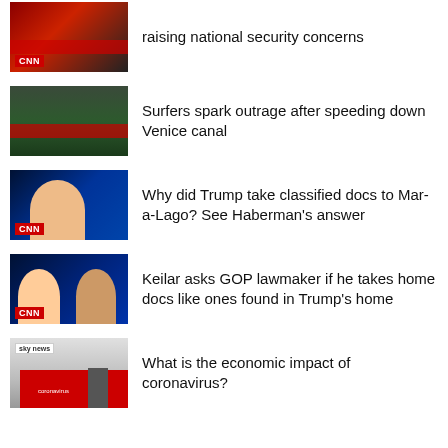raising national security concerns
Surfers spark outrage after speeding down Venice canal
Why did Trump take classified docs to Mar-a-Lago? See Haberman's answer
Keilar asks GOP lawmaker if he takes home docs like ones found in Trump's home
What is the economic impact of coronavirus?